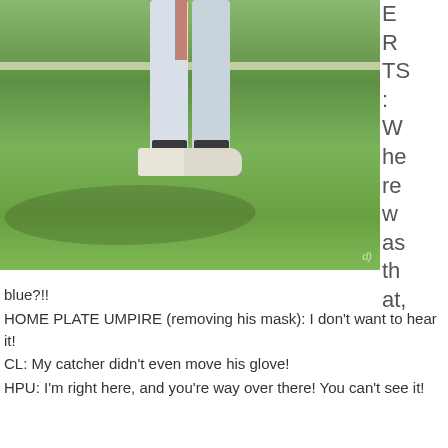[Figure (photo): Photo of a baseball player from the waist down, standing on a grass field with a foul line visible. The player is wearing white pants and white cleats with dark socks.]
E
R
TS
:
W
he
re
w
as
th
at,
blue?!!
HOME PLATE UMPIRE (removing his mask):  I don't want to hear it!
CL:  My catcher didn't even move his glove!
HPU:  I'm right here, and you're way over there!  You can't see it!